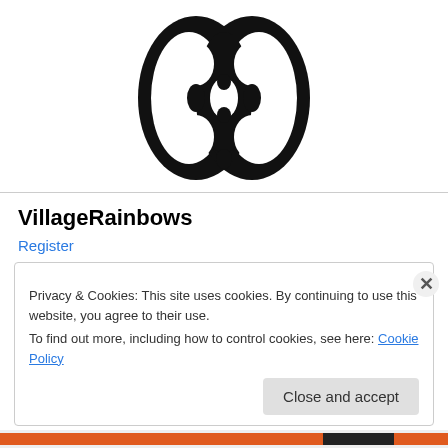[Figure (logo): Black butterfly/brain-like symmetrical logo on white background]
VillageRainbows
Register
Privacy & Cookies: This site uses cookies. By continuing to use this website, you agree to their use.
To find out more, including how to control cookies, see here: Cookie Policy